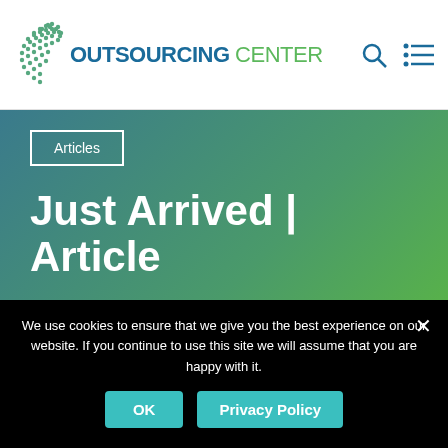OUTSOURCING CENTER
Articles
Just Arrived | Article
By Outsourcing Center, Kathleen Goolsby, Senior Writer
We use cookies to ensure that we give you the best experience on our website. If you continue to use this site we will assume that you are happy with it.
OK
Privacy Policy